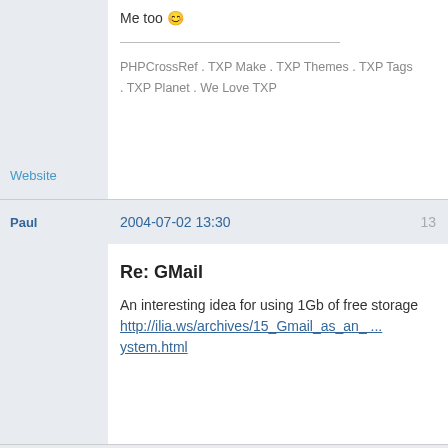Me too 🙂
PHPCrossRef . TXP Make . TXP Themes . TXP Tags . TXP Planet . We Love TXP
Website
Paul
2004-07-02 13:30
13
Re: GMail
An interesting idea for using 1Gb of free storage http://ilia.ws/archives/15_Gmail_as_an_ ... ystem.html
Falconey
2004-07-02 14:29 (edited by Falconey 2004-07-02 14:31)
14